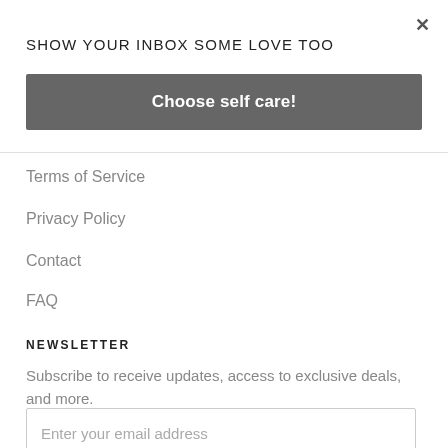SHOW YOUR INBOX SOME LOVE TOO
[Figure (other): Close (X) button in top right corner]
Choose self care!
Terms of Service
Privacy Policy
Contact
FAQ
NEWSLETTER
Subscribe to receive updates, access to exclusive deals, and more.
Enter your email address